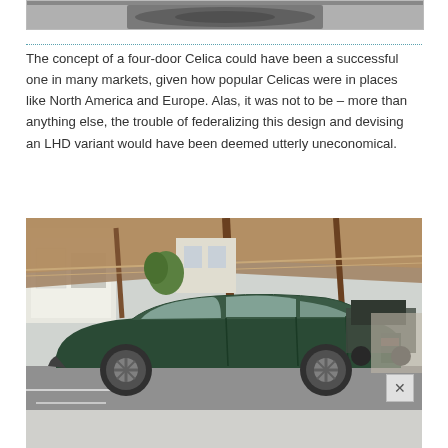[Figure (photo): Partial view of a car from above, cropped at top of page]
The concept of a four-door Celica could have been a successful one in many markets, given how popular Celicas were in places like North America and Europe. Alas, it was not to be – more than anything else, the trouble of federalizing this design and devising an LHD variant would have been deemed utterly uneconomical.
[Figure (photo): A dark green four-door sedan (Toyota Celica concept) parked in a Japanese street under a carport structure, side profile view]
[Figure (photo): Partial bottom strip of another photo of the same car, cropped]